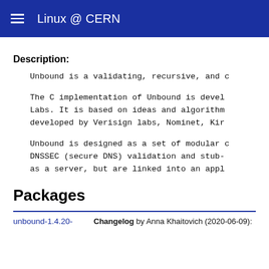Linux @ CERN
Description:
Unbound is a validating, recursive, and c
The C implementation of Unbound is devel Labs. It is based on ideas and algorithm developed by Verisign labs, Nominet, Kir
Unbound is designed as a set of modular c DNSSEC (secure DNS) validation and stub- as a server, but are linked into an appl
Packages
unbound-1.4.20-   Changelog by Anna Khaitovich (2020-06-09):